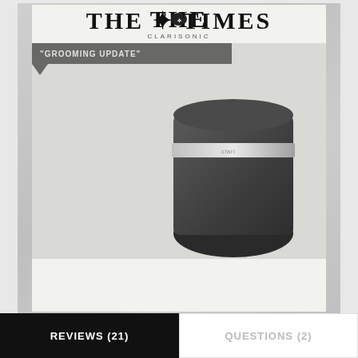[Figure (photo): The Times magazine clipping featuring a Clarisonic Alpha Fit facial cleansing device — a dark grey cylindrical device with a white brush head and orange center, shown with a brown magnetic charging cap and USB cable, against a grey marble-textured background. Black 'GROOMING UPDATE' banner overlaid on top left.]
4 Clarisonic Alpha Fit, £170; currentbody.com
Designed for men's tougher skin, this has 26,000 bristles to sweep away oil and grime
REVIEWS (21)
QUESTIONS (2)